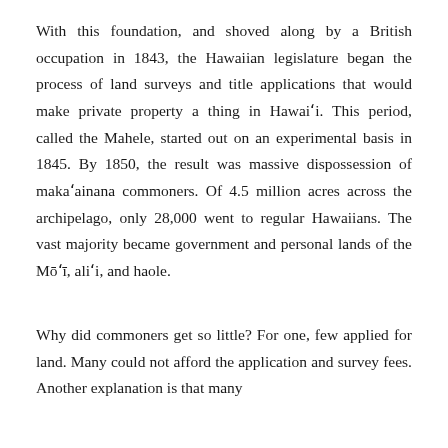With this foundation, and shoved along by a British occupation in 1843, the Hawaiian legislature began the process of land surveys and title applications that would make private property a thing in Hawai'i. This period, called the Mahele, started out on an experimental basis in 1845. By 1850, the result was massive dispossession of maka'ainana commoners. Of 4.5 million acres across the archipelago, only 28,000 went to regular Hawaiians. The vast majority became government and personal lands of the Mō'ī, ali'i, and haole.
Why did commoners get so little? For one, few applied for land. Many could not afford the application and survey fees. Another explanation is that many